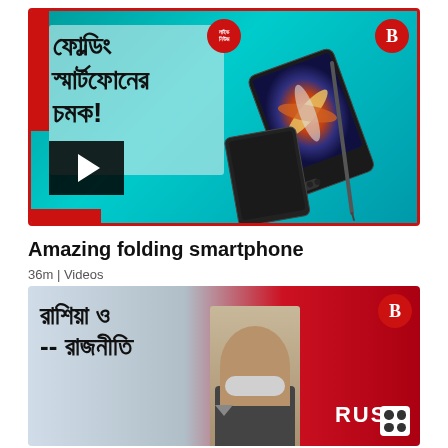[Figure (screenshot): Video thumbnail showing a folding smartphone (Samsung Galaxy Z Fold) with Bengali text reading 'ফোল্ডিং স্মার্টফোনের চমক!' (Amazing folding smartphone!) on a teal background with red borders, a play button overlay, and logos.]
Amazing folding smartphone
36m | Videos
[Figure (screenshot): Video thumbnail showing a man with a face mask against a map of Russia with red background, with Bengali text partially visible reading 'রাশিয়া ও...' (Russia and...)]